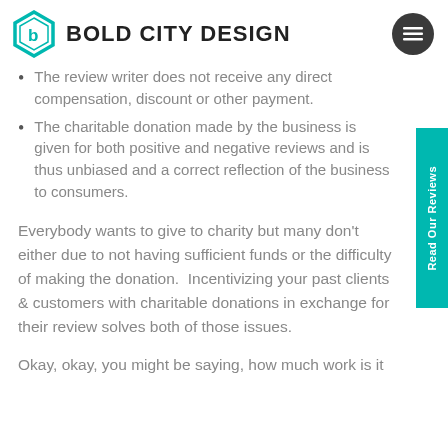BOLD CITY DESIGN
The review writer does not receive any direct compensation, discount or other payment.
The charitable donation made by the business is given for both positive and negative reviews and is thus unbiased and a correct reflection of the business to consumers.
Everybody wants to give to charity but many don't either due to not having sufficient funds or the difficulty of making the donation.  Incentivizing your past clients & customers with charitable donations in exchange for their review solves both of those issues.
Okay, okay, you might be saying, how much work is it